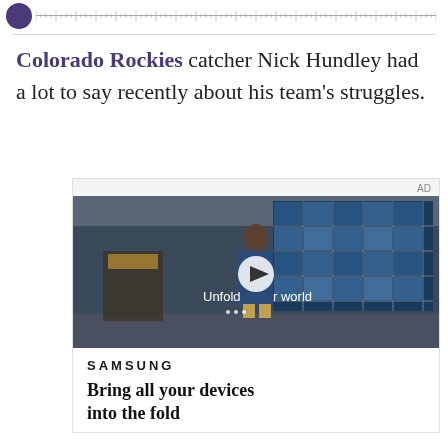[Figure (logo): Purple circle logo with ruler/tick mark bar to the right]
Colorado Rockies catcher Nick Hundley had a lot to say recently about his team's struggles.
[Figure (screenshot): Advertisement: Samsung video ad showing a young man in a diner/cafeteria with blue tile windows in the background. Text overlay reads 'Unfold your world' with a play button. Below: SAMSUNG logo and tagline 'Bring all your devices into the fold']